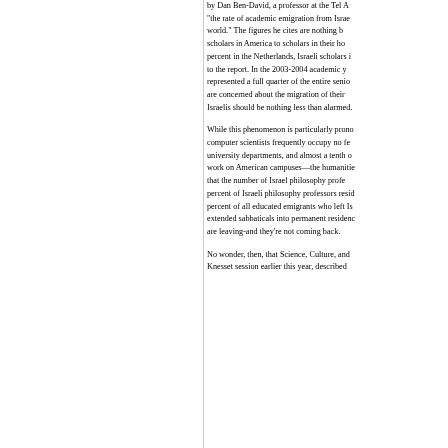by Dan Ben-David, a professor at the Tel A... "the rate of academic emigration from Israe... world." The figures he cites are nothing b... scholars in America to scholars in their ho... percent in the Netherlands, Israeli scholars i... to the report. In the 2003-2004 academic y... represented a full quarter of the entire senio... are concerned about the migration of their... Israelis should be nothing less than alarmed.
While this phenomenon is particularly prono... computer scientists frequently occupy no fe... university departments, and almost a tenth o... work on American campuses—the humanitie... that the number of Israel philosophy profe... percent of Israeli philosophy professors resid... percent of all educated emigrants who left Is... extended sabbaticals into permanent residenc... are leaving-and they're not coming back.
No wonder, then, that Science, Culture, and... Knesset session earlier this year, described...